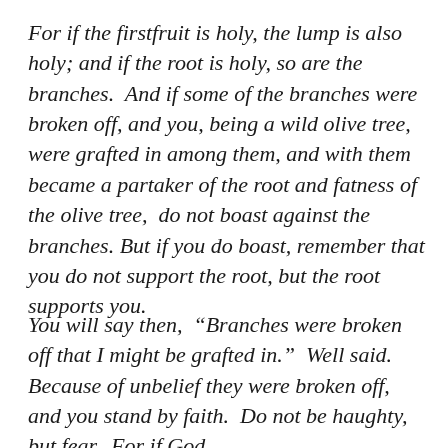For if the firstfruit is holy, the lump is also holy; and if the root is holy, so are the branches.  And if some of the branches were broken off, and you, being a wild olive tree, were grafted in among them, and with them became a partaker of the root and fatness of the olive tree,  do not boast against the branches. But if you do boast, remember that you do not support the root, but the root supports you.
You will say then,  “Branches were broken off that I might be grafted in.”  Well said. Because of unbelief they were broken off, and you stand by faith.  Do not be haughty, but fear.  For if God